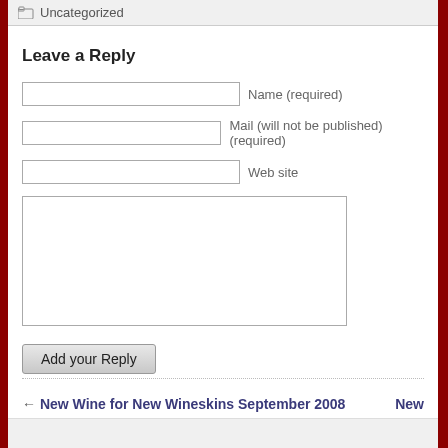Uncategorized
Leave a Reply
Name (required)
Mail (will not be published) (required)
Web site
Add your Reply
← New Wine for New Wineskins September 2008
New
New Wine O